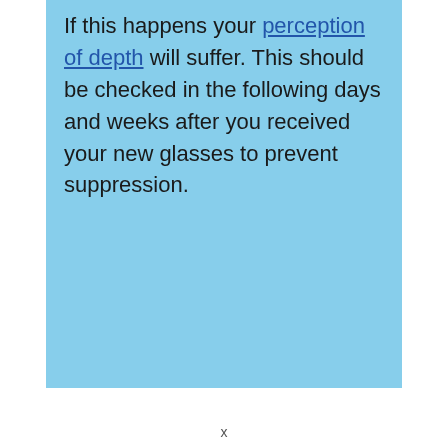If this happens your perception of depth will suffer. This should be checked in the following days and weeks after you received your new glasses to prevent suppression.